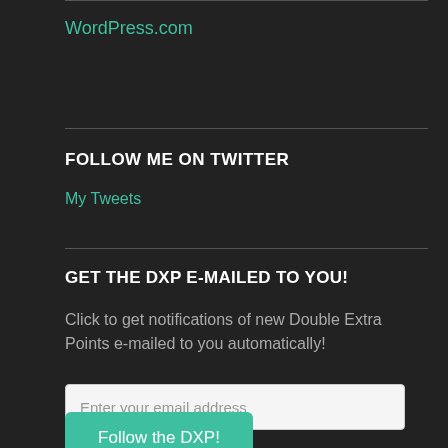WordPress.com
FOLLOW ME ON TWITTER
My Tweets
GET THE DXP E-MAILED TO YOU!
Click to get notifications of new Double Extra Points e-mailed to you automatically!
Enter your email address
Follow the DXP!